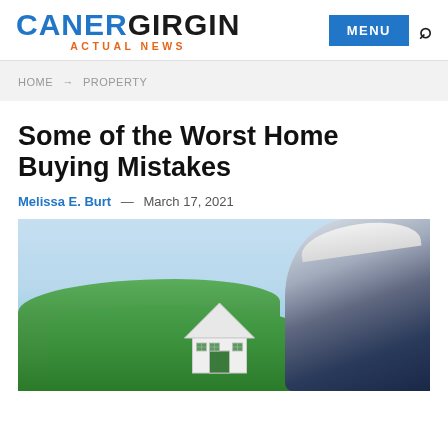CANERGIRGIN ACTUAL NEWS
HOME → PROPERTY
Some of the Worst Home Buying Mistakes
Melissa E. Burt — March 17, 2021
[Figure (photo): Photo of a small white house model in the foreground with a blurred green outdoor background and a person wearing a hat on the right side]